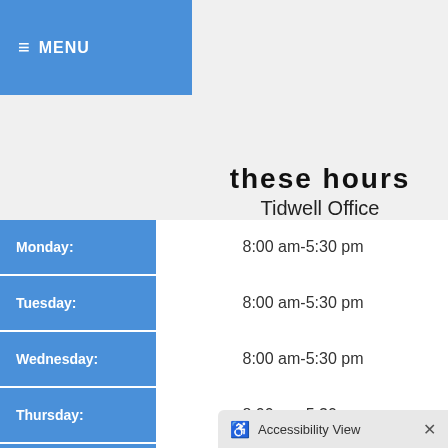≡ MENU
these hours
Tidwell Office
| Day | Hours |
| --- | --- |
| Monday: | 8:00 am-5:30 pm |
| Tuesday: | 8:00 am-5:30 pm |
| Wednesday: | 8:00 am-5:30 pm |
| Thursday: | 8:00 am-5:30 pm |
| Friday: | 8:00 am-5:30 pm |
Accessibility View ×